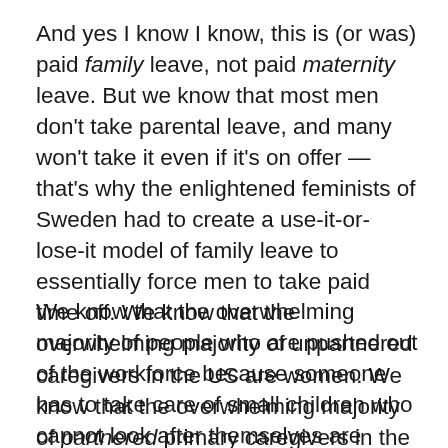And yes I know I know, this is (or was) paid family leave, not paid maternity leave. But we know that most men don't take parental leave, and many won't take it even if it's on offer — that's why the enlightened feminists of Sweden had to create a use-it-or-lose-it model of family leave to essentially force men to take paid time off. We know that the overwhelming majority of unpartnered caregivers in the US are women. We know that the overwhelming majority of partnered primary caregivers in the US are women.
We know that the overwhelming majority of people who are pushed out of the workforce because someone has to take care of small children who cannot look after themselves are women. We know that this is financially disastrous for women and for the country as a whole. And I, at least, do believe that most men are not